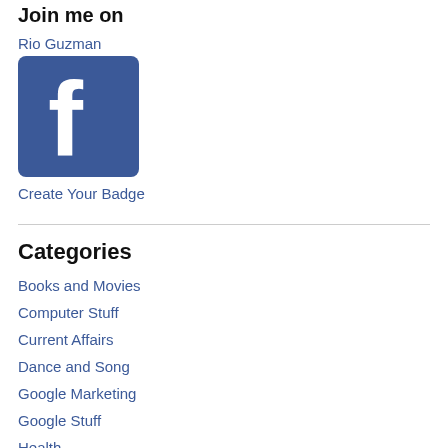Join me on
Rio Guzman
[Figure (logo): Facebook logo — blue square with white lowercase f]
Create Your Badge
Categories
Books and Movies
Computer Stuff
Current Affairs
Dance and Song
Google Marketing
Google Stuff
Health